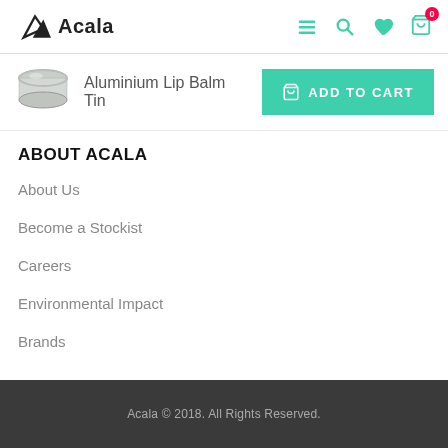Acala
[Figure (screenshot): Aluminium Lip Balm Tin product image - small silver tin]
Aluminium Lip Balm Tin
ADD TO CART
ABOUT ACALA
About Us
Become a Stockist
Careers
Environmental Impact
Brands
Acala © 2018. All Rights Reserved.